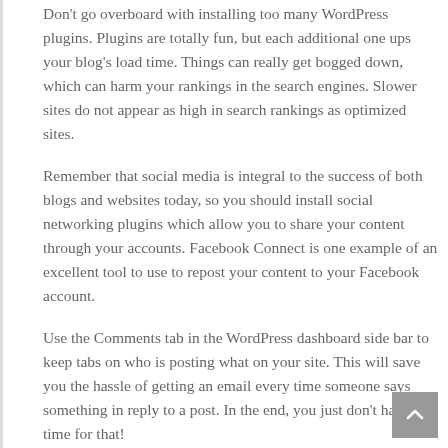Don't go overboard with installing too many WordPress plugins. Plugins are totally fun, but each additional one ups your blog's load time. Things can really get bogged down, which can harm your rankings in the search engines. Slower sites do not appear as high in search rankings as optimized sites.
Remember that social media is integral to the success of both blogs and websites today, so you should install social networking plugins which allow you to share your content through your accounts. Facebook Connect is one example of an excellent tool to use to repost your content to your Facebook account.
Use the Comments tab in the WordPress dashboard side bar to keep tabs on who is posting what on your site. This will save you the hassle of getting an email every time someone says something in reply to a post. In the end, you just don't have time for that!
Do you find it difficult to post when you say you will or